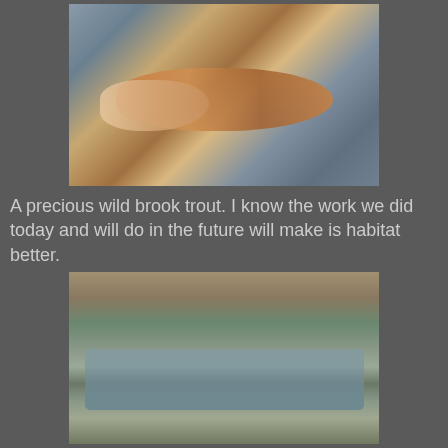[Figure (photo): A hand holding a small brook trout over rocky shallow water. The fish has colorful markings typical of a wild brook trout.]
A precious wild brook trout. I know the work we did today and will do in the future will make is habitat better.
[Figure (photo): A rocky mountain stream or creek winding through a wooded area, with moss-covered rocks along the banks and leaf litter on the ground.]